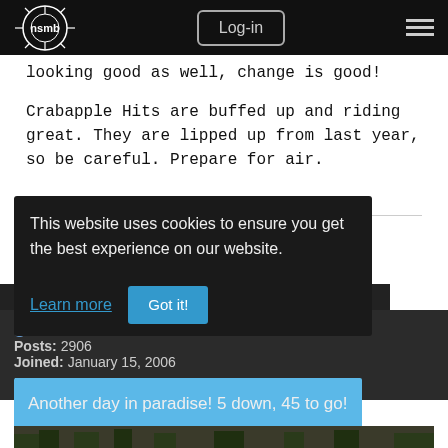nsmb Log-in [menu]
looking good as well, change is good!
Crabapple Hits are buffed up and riding great. They are lipped up from last year, so be careful. Prepare for air.
Twitter: Stephen_matthws
Instagram: stephen_matthews
May 26, 2013, 7:54 p.m.
gotham
Posts: 2906
Joined: January 15, 2006
Another day in paradise! 5 down, 45 to go!
This website uses cookies to ensure you get the best experience on our website.
Learn more
Got it!